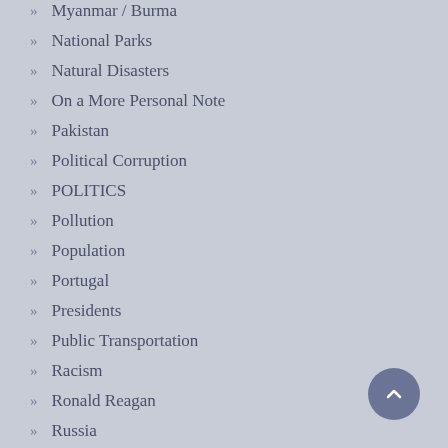Myanmar / Burma
National Parks
Natural Disasters
On a More Personal Note
Pakistan
Political Corruption
POLITICS
Pollution
Population
Portugal
Presidents
Public Transportation
Racism
Ronald Reagan
Russia